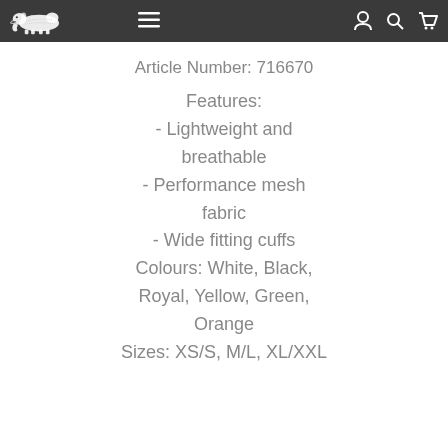navbar with logo, menu icon, user icon, search icon, cart icon
Article Number: 716670
Features:
- Lightweight and breathable
- Performance mesh fabric
- Wide fitting cuffs
Colours: White, Black, Royal, Yellow, Green, Orange
Sizes: XS/S, M/L, XL/XXL